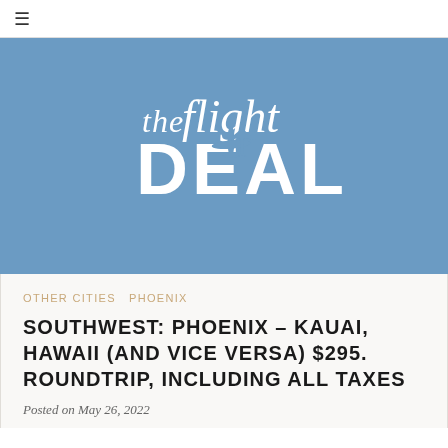≡
[Figure (logo): The Flight Deal logo — white text 'the flight DEAL' with an airplane silhouette on a steel blue background]
OTHER CITIES  PHOENIX
SOUTHWEST: PHOENIX – KAUAI, HAWAII (AND VICE VERSA) $295. ROUNDTRIP, INCLUDING ALL TAXES
Posted on May 26, 2022